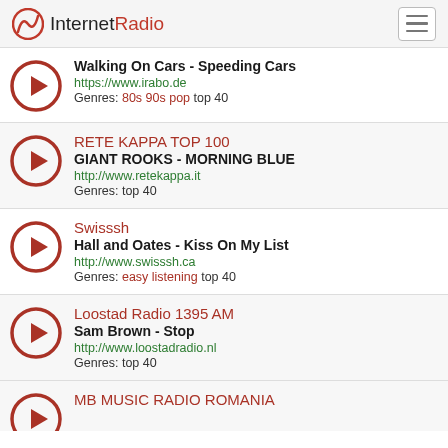InternetRadio
Walking On Cars - Speeding Cars | https://www.irabo.de | Genres: 80s 90s pop top 40
RETE KAPPA TOP 100 | GIANT ROOKS - MORNING BLUE | http://www.retekappa.it | Genres: top 40
Swisssh | Hall and Oates - Kiss On My List | http://www.swisssh.ca | Genres: easy listening top 40
Loostad Radio 1395 AM | Sam Brown - Stop | http://www.loostadradio.nl | Genres: top 40
MB MUSIC RADIO ROMANIA